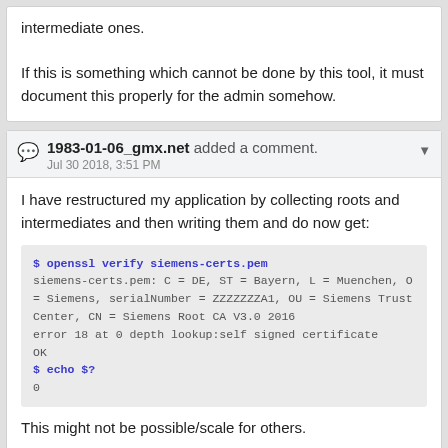intermediate ones.

If this is something which cannot be done by this tool, it must document this properly for the admin somehow.
1983-01-06_gmx.net added a comment.
Jul 30 2018, 3:51 PM
I have restructured my application by collecting roots and intermediates and then writing them and do now get:
$ openssl verify siemens-certs.pem
siemens-certs.pem: C = DE, ST = Bayern, L = Muenchen, O = Siemens, serialNumber = ZZZZZZZA1, OU = Siemens Trust Center, CN = Siemens Root CA V3.0 2016
error 18 at 0 depth lookup:self signed certificate
OK
$ echo $?
0
This might not be possible/scale for others.